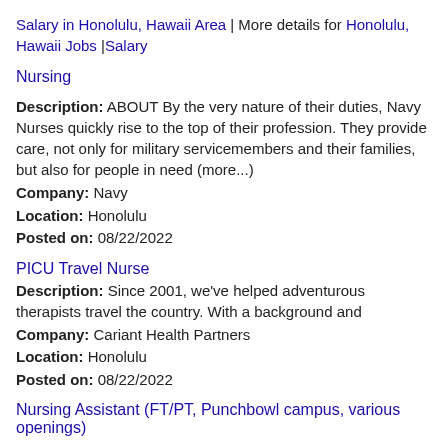Salary in Honolulu, Hawaii Area | More details for Honolulu, Hawaii Jobs |Salary
Nursing
Description: ABOUT By the very nature of their duties, Navy Nurses quickly rise to the top of their profession. They provide care, not only for military servicemembers and their families, but also for people in need (more...)
Company: Navy
Location: Honolulu
Posted on: 08/22/2022
PICU Travel Nurse
Description: Since 2001, we've helped adventurous therapists travel the country. With a background and
Company: Cariant Health Partners
Location: Honolulu
Posted on: 08/22/2022
Nursing Assistant (FT/PT, Punchbowl campus, various openings)
Description: About Us The Queen's Health Systems is a nonprofit